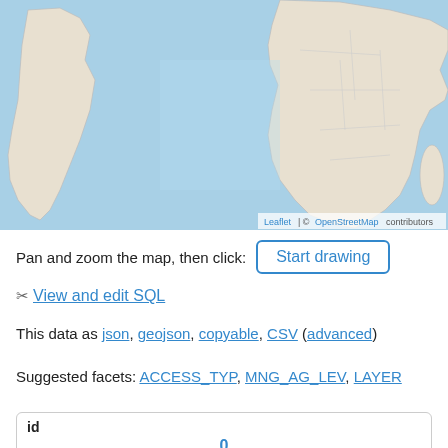[Figure (map): World map showing Africa and South America with blue ocean background and beige land masses, rendered as a Leaflet/OpenStreetMap tile map. Attribution reads: Leaflet | © OpenStreetMap contributors]
Pan and zoom the map, then click:  Start drawing
✂ View and edit SQL
This data as json, geojson, copyable, CSV (advanced)
Suggested facets: ACCESS_TYP, MNG_AG_LEV, LAYER
| id |
| --- |
| 0 |
| ACCESS_TYP |